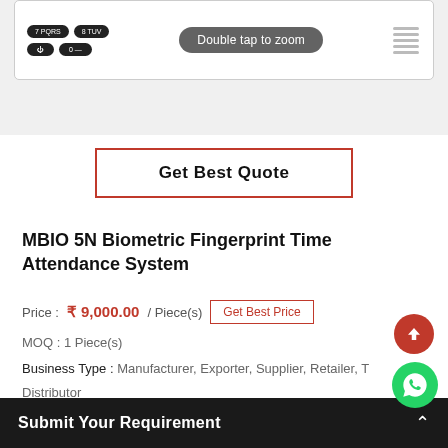[Figure (photo): Top portion of MBIO 5N biometric fingerprint device showing keypad buttons and speaker grill, with 'Double tap to zoom' overlay label]
Get Best Quote
MBIO 5N Biometric Fingerprint Time Attendance System
Price : ₹ 9,000.00 / Piece(s) Get Best Price
MOQ : 1 Piece(s)
Business Type : Manufacturer, Exporter, Supplier, Retailer, T... Distributor
Submit Your Requirement